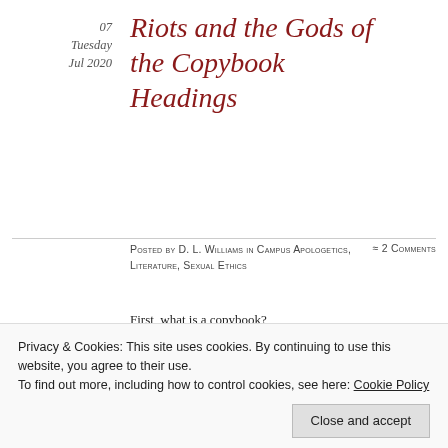07
Tuesday
Jul 2020
Riots and the Gods of the Copybook Headings
Posted by D. L. Williams in Campus Apologetics, Literature, Sexual Ethics
≈ 2 Comments
First, what is a copybook?
[Figure (photo): Photograph of a handwritten copybook page showing cursive script: 'Good nature like a bee collects honey from every herb.' repeated twice.]
Privacy & Cookies: This site uses cookies. By continuing to use this website, you agree to their use.
To find out more, including how to control cookies, see here: Cookie Policy
Close and accept